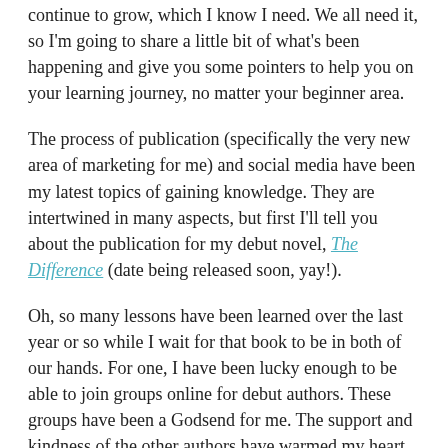continue to grow, which I know I need. We all need it, so I'm going to share a little bit of what's been happening and give you some pointers to help you on your learning journey, no matter your beginner area.
The process of publication (specifically the very new area of marketing for me) and social media have been my latest topics of gaining knowledge. They are intertwined in many aspects, but first I'll tell you about the publication for my debut novel, The Difference (date being released soon, yay!).
Oh, so many lessons have been learned over the last year or so while I wait for that book to be in both of our hands. For one, I have been lucky enough to be able to join groups online for debut authors. These groups have been a Godsend for me. The support and kindness of the other authors have warmed my heart every day. Nobody is in